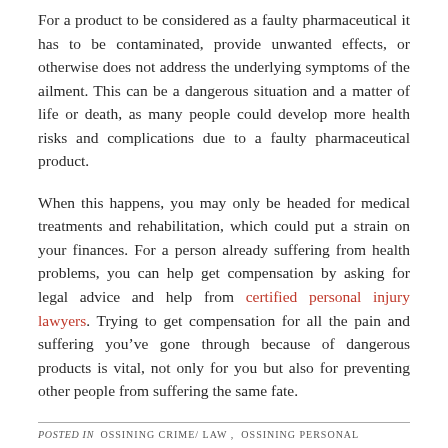For a product to be considered as a faulty pharmaceutical it has to be contaminated, provide unwanted effects, or otherwise does not address the underlying symptoms of the ailment. This can be a dangerous situation and a matter of life or death, as many people could develop more health risks and complications due to a faulty pharmaceutical product.
When this happens, you may only be headed for medical treatments and rehabilitation, which could put a strain on your finances. For a person already suffering from health problems, you can help get compensation by asking for legal advice and help from certified personal injury lawyers. Trying to get compensation for all the pain and suffering you’ve gone through because of dangerous products is vital, not only for you but also for preventing other people from suffering the same fate.
POSTED IN OSSINING CRIME/ LAW , OSSINING PERSONAL